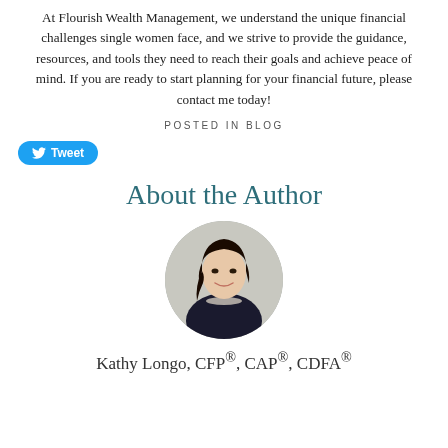At Flourish Wealth Management, we understand the unique financial challenges single women face, and we strive to provide the guidance, resources, and tools they need to reach their goals and achieve peace of mind. If you are ready to start planning for your financial future, please contact me today!
POSTED IN BLOG
[Figure (other): Tweet button with Twitter bird icon]
About the Author
[Figure (photo): Circular headshot photo of a woman with dark hair wearing a blazer and pearl necklace, against a light background]
Kathy Longo, CFP®, CAP®, CDFA®